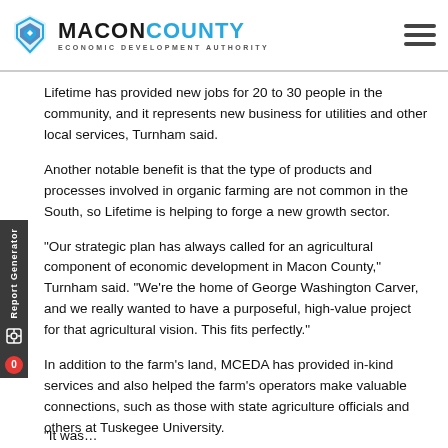Macon County Economic Development Authority
the farm, and in the interest of getting a tract for an ag startup to call...
Lifetime has provided new jobs for 20 to 30 people in the community, and it represents new business for utilities and other local services, Turnham said.
Another notable benefit is that the type of products and processes involved in organic farming are not common in the South, so Lifetime is helping to forge a new growth sector.
“Our strategic plan has always called for an agricultural component of economic development in Macon County,” Turnham said. “We’re the home of George Washington Carver, and we really wanted to have a purposeful, high-value project for that agricultural vision. This fits perfectly.”
In addition to the farm’s land, MCEDA has provided in-kind services and also helped the farm’s operators make valuable connections, such as those with state agriculture officials and others at Tuskegee University.
“It was...